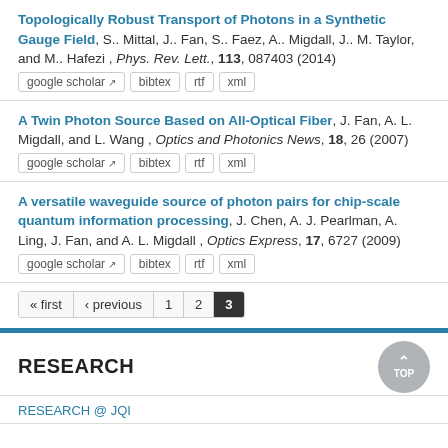Topologically Robust Transport of Photons in a Synthetic Gauge Field, S.. Mittal, J.. Fan, S.. Faez, A.. Migdall, J.. M. Taylor, and M.. Hafezi , Phys. Rev. Lett., 113, 087403 (2014)
google scholar | bibtex | rtf | xml
A Twin Photon Source Based on All-Optical Fiber, J. Fan, A. L. Migdall, and L. Wang , Optics and Photonics News, 18, 26 (2007)
google scholar | bibtex | rtf | xml
A versatile waveguide source of photon pairs for chip-scale quantum information processing, J. Chen, A. J. Pearlman, A. Ling, J. Fan, and A. L. Migdall , Optics Express, 17, 6727 (2009)
google scholar | bibtex | rtf | xml
« first ‹ previous 1 2 3
RESEARCH
RESEARCH @ JQI